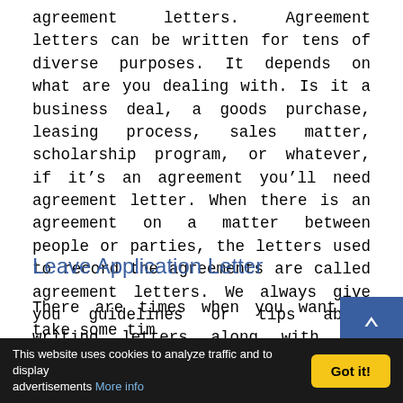agreement letters. Agreement letters can be written for tens of diverse purposes. It depends on what are you dealing with. Is it a business deal, a goods purchase, leasing process, sales matter, scholarship program, or whatever, if it's an agreement you'll need agreement letter. When there is an agreement on a matter between people or parties, the letters used to record the agreements are called agreement letters. We always give you guidelines or tips about writing letters along with our samples,...
Leave Application Letter
There are times when you want to take some time off from work. At other times, it's an urgency due
This website uses cookies to analyze traffic and to display advertisements More info | Got it!